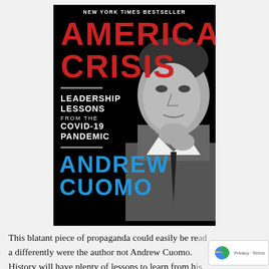[Figure (illustration): Book cover of 'American Crisis: Leadership Lessons from the COVID-19 Pandemic' by Andrew Cuomo. Black background with red title text 'AMERICAN CRISIS', white subtitle 'LEADERSHIP LESSONS FROM THE COVID-19 PANDEMIC', blue author name 'ANDREW CUOMO', and a black-and-white photo of Andrew Cuomo. Labeled 'NEW YORK TIMES BESTSELLER' at top.]
This blatant piece of propaganda could easily be read a differently were the author not Andrew Cuomo. History will have plenty of lessons to learn from his mismanagement of the pandemic. Anyone with an